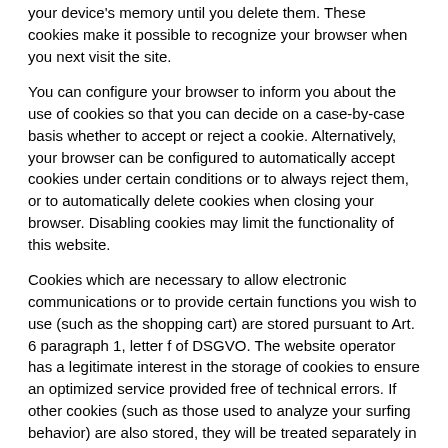your device's memory until you delete them. These cookies make it possible to recognize your browser when you next visit the site.
You can configure your browser to inform you about the use of cookies so that you can decide on a case-by-case basis whether to accept or reject a cookie. Alternatively, your browser can be configured to automatically accept cookies under certain conditions or to always reject them, or to automatically delete cookies when closing your browser. Disabling cookies may limit the functionality of this website.
Cookies which are necessary to allow electronic communications or to provide certain functions you wish to use (such as the shopping cart) are stored pursuant to Art. 6 paragraph 1, letter f of DSGVO. The website operator has a legitimate interest in the storage of cookies to ensure an optimized service provided free of technical errors. If other cookies (such as those used to analyze your surfing behavior) are also stored, they will be treated separately in this privacy policy.
Server log files
The website provider automatically collects and stores information that your browser automatically transmits to us in "server log files".